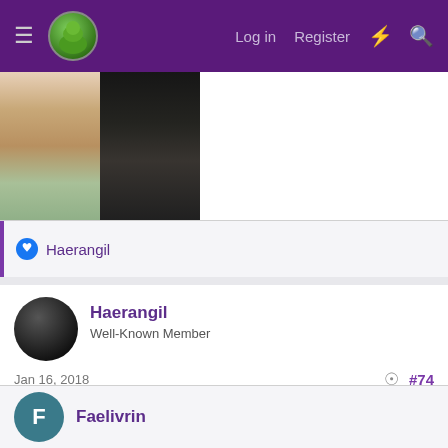Log in  Register
[Figure (photo): Two photos side by side: left shows a woman from shoulders up wearing a green garment, right shows a deer-like creature with an open mouth on black background]
Haerangil
Haerangil
Well-Known Member
Jan 16, 2018  #74
As to the quotes,
Well I knew these quotes were not about Thuringwethil per se, but I thought they might help as some clues...
Faelivrin